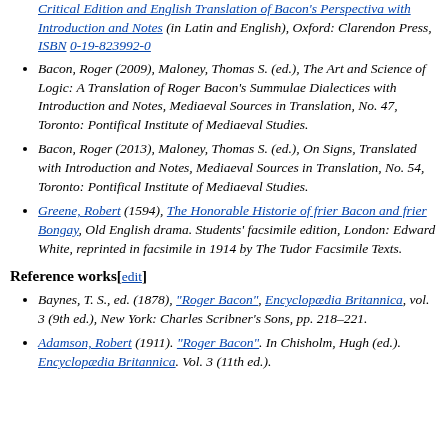Critical Edition and English Translation of Bacon's Perspectiva with Introduction and Notes (in Latin and English), Oxford: Clarendon Press, ISBN 0-19-823992-0
Bacon, Roger (2009), Maloney, Thomas S. (ed.), The Art and Science of Logic: A Translation of Roger Bacon's Summulae Dialectices with Introduction and Notes, Mediaeval Sources in Translation, No. 47, Toronto: Pontifical Institute of Mediaeval Studies.
Bacon, Roger (2013), Maloney, Thomas S. (ed.), On Signs, Translated with Introduction and Notes, Mediaeval Sources in Translation, No. 54, Toronto: Pontifical Institute of Mediaeval Studies.
Greene, Robert (1594), The Honorable Historie of frier Bacon and frier Bongay, Old English drama. Students' facsimile edition, London: Edward White, reprinted in facsimile in 1914 by The Tudor Facsimile Texts.
Reference works[edit]
Baynes, T. S., ed. (1878), "Roger Bacon", Encyclopædia Britannica, vol. 3 (9th ed.), New York: Charles Scribner's Sons, pp. 218–221.
Adamson, Robert (1911). "Roger Bacon". In Chisholm, Hugh (ed.). Encyclopædia Britannica. Vol. 3 (11th ed.). Cambridge University Press, pp. 153–156.